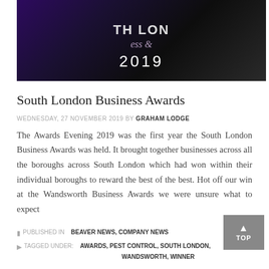[Figure (photo): Dark purple/black background event photo from South London Business Awards 2019, showing text 'TH LON' and '2019' on a banner with silhouettes of people]
South London Business Awards
WEDNESDAY, 27 NOVEMBER 2019 BY GRAHAM LODGE
The Awards Evening 2019 was the first year the South London Business Awards was held. It brought together businesses across all the boroughs across South London which had won within their individual boroughs to reward the best of the best. Hot off our win at the Wandsworth Business Awards we were unsure what to expect
PUBLISHED IN BEAVER NEWS, COMPANY NEWS
TAGGED UNDER: AWARDS, PEST CONTROL, SOUTH LONDON, WANDSWORTH, WINNER